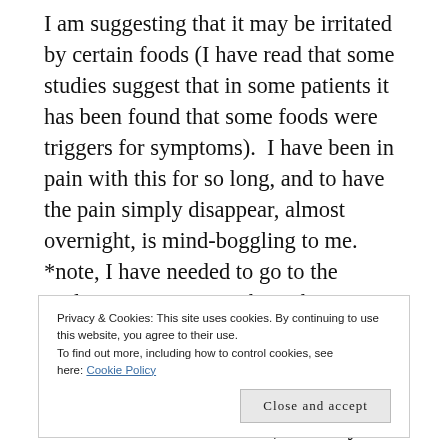I am suggesting that it may be irritated by certain foods (I have read that some studies suggest that in some patients it has been found that some foods were triggers for symptoms).  I have been in pain with this for so long, and to have the pain simply disappear, almost overnight, is mind-boggling to me.   *note, I have needed to go to the urologist to see more about this condition but have put it off because of my complications with Meniere's and Migraines.  I have put off many things because of these illnesses, as many of you know, they have taken up most of my
Privacy & Cookies: This site uses cookies. By continuing to use this website, you agree to their use.
To find out more, including how to control cookies, see here: Cookie Policy
Close and accept